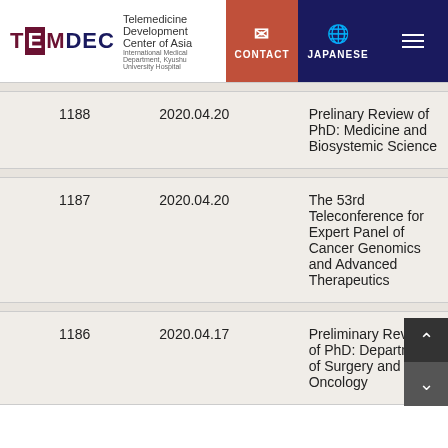TEMDEC Telemedicine Development Center of Asia, International Medical Department, Kyushu University Hospital. Navigation: CONTACT, JAPANESE, Menu
| # | Date | Title |
| --- | --- | --- |
| 1188 | 2020.04.20 | Prelinary Review of PhD: Medicine and Biosystemic Science |
| 1187 | 2020.04.20 | The 53rd Teleconference for Expert Panel of Cancer Genomics and Advanced Therapeutics |
| 1186 | 2020.04.17 | Preliminary Review of PhD: Department of Surgery and Oncology |